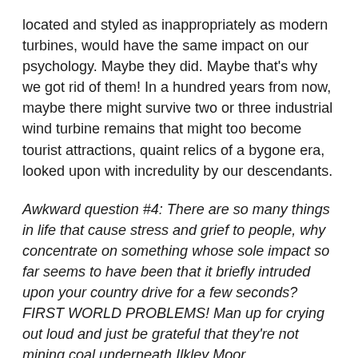located and styled as inappropriately as modern turbines, would have the same impact on our psychology. Maybe they did. Maybe that's why we got rid of them! In a hundred years from now, maybe there might survive two or three industrial wind turbine remains that might too become tourist attractions, quaint relics of a bygone era, looked upon with incredulity by our descendants.
Awkward question #4: There are so many things in life that cause stress and grief to people, why concentrate on something whose sole impact so far seems to have been that it briefly intruded upon your country drive for a few seconds? FIRST WORLD PROBLEMS! Man up for crying out loud and just be grateful that they're not mining coal underneath Ilkley Moor.
I use the country drive as a control experiment, to